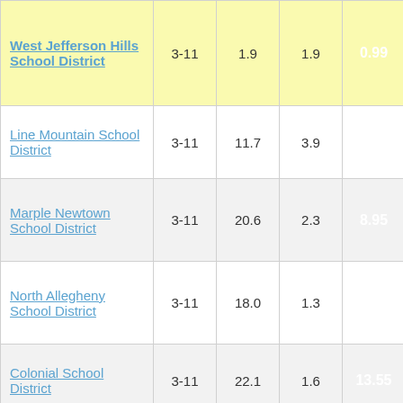| School District | Grades | Col3 | Col4 | Value | ... |
| --- | --- | --- | --- | --- | --- |
| West Jefferson Hills School District | 3-11 | 1.9 | 1.9 | 0.99 | 3... |
| Line Mountain School District | 3-11 | 11.7 | 3.9 | 3.01 | ... |
| Marple Newtown School District | 3-11 | 20.6 | 2.3 | 8.95 | ... |
| North Allegheny School District | 3-11 | 18.0 | 1.3 | 14.25 | ... |
| Colonial School District | 3-11 | 22.1 | 1.6 | 13.55 | ... |
| Oswayo Valley School District | 3-12 | 9.9 | 5.1 | 1.93 | ... |
| Upper Saint Clair School District | 3-11 | 13.8 | 1.8 | 7.86 | ... |